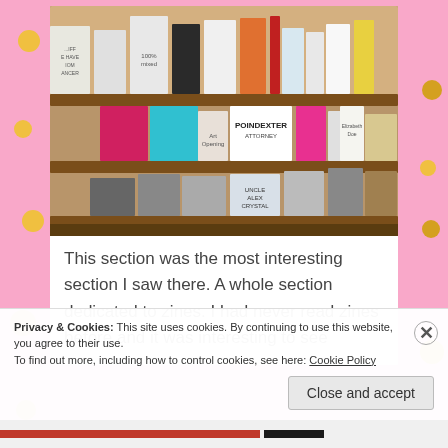[Figure (photo): A photograph of a bookshelf/display rack filled with zines and small press publications. Visible titles include '100% mixed', 'Art Opening', 'POINDEXTER', 'Uncle Alex Crystal'. Books/zines in various colors: teal, pink/magenta, red, white, black and white, orange, yellow.]
This section was the most interesting section I saw there. A whole section dedicated to zines. I had never read zines before and it was interesting to see
Privacy & Cookies: This site uses cookies. By continuing to use this website, you agree to their use.
To find out more, including how to control cookies, see here: Cookie Policy
Close and accept